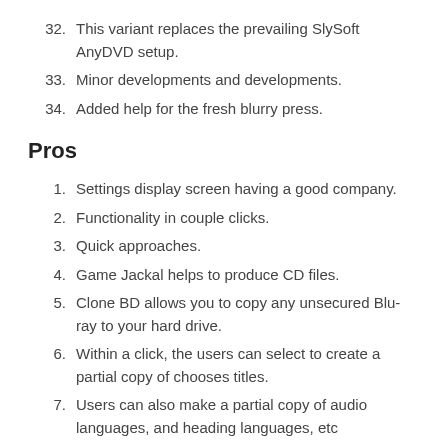32. This variant replaces the prevailing SlySoft AnyDVD setup.
33. Minor developments and developments.
34. Added help for the fresh blurry press.
Pros
1. Settings display screen having a good company.
2. Functionality in couple clicks.
3. Quick approaches.
4. Game Jackal helps to produce CD files.
5. Clone BD allows you to copy any unsecured Blu-ray to your hard drive.
6. Within a click, the users can select to create a partial copy of chooses titles.
7. Users can also make a partial copy of audio languages, and heading languages, etc
8. Clone CD, duplicate optical discs in raw arrangements.
9. Clone DVD mobile helps to shift DVD files to mobile video